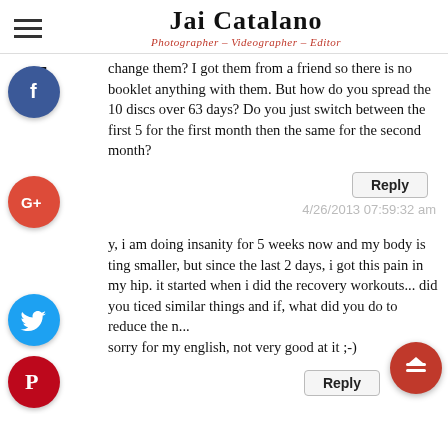Jai Catalano - Photographer – Videographer – Editor
change them? I got them from a friend so there is no booklet anything with them. But how do you spread the 10 discs over 63 days? Do you just switch between the first 5 for the first month then the same for the second month?
35 SHARES
Reply
4/26/2013 07:59:32 am
y, i am doing insanity for 5 weeks now and my body is ting smaller, but since the last 2 days, i got this pain in my hip. it started when i did the recovery workouts... did you ticed similar things and if, what did you do to reduce the n... sorry for my english, not very good at it ;-)
Reply